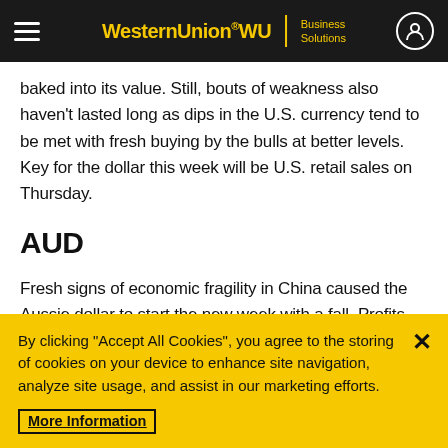Western Union WU | Business Solutions
baked into its value. Still, bouts of weakness also haven't lasted long as dips in the U.S. currency tend to be met with fresh buying by the bulls at better levels. Key for the dollar this week will be U.S. retail sales on Thursday.
AUD
Fresh signs of economic fragility in China caused the Aussie dollar to start the new week with a fall. Profits remain on the table for Aussie buyers to lock in with the current market among the best in years (six). Weekend data showed surprise erosion in China's trade balance to
By clicking "Accept All Cookies", you agree to the storing of cookies on your device to enhance site navigation, analyze site usage, and assist in our marketing efforts.
More Information